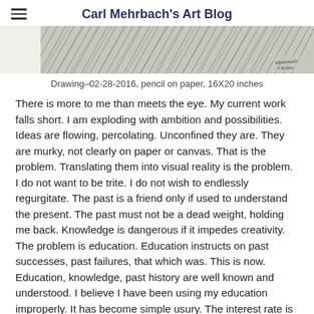Carl Mehrbach's Art Blog
[Figure (illustration): Top portion of a pencil drawing showing dense hatching and figure forms, cropped at top of page]
Drawing–02-28-2016, pencil on paper, 16X20 inches
There is more to me than meets the eye. My current work falls short. I am exploding with ambition and possibilities. Ideas are flowing, percolating. Unconfined they are. They are murky, not clearly on paper or canvas. That is the problem. Translating them into visual reality is the problem. I do not want to be trite. I do not wish to endlessly regurgitate. The past is a friend only if used to understand the present. The past must not be a dead weight, holding me back. Knowledge is dangerous if it impedes creativity. The problem is education. Education instructs on past successes, past failures, that which was. This is now. Education, knowledge, past history are well known and understood. I believe I have been using my education improperly. It has become simple usury. The interest rate is too high to allow me to create new knowledge. My educational interest demands too much. It